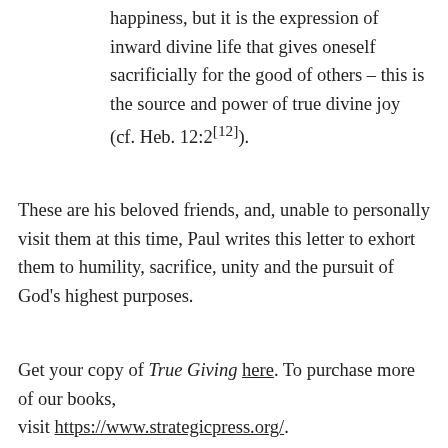happiness, but it is the expression of inward divine life that gives oneself sacrificially for the good of others – this is the source and power of true divine joy (cf. Heb. 12:2[12]).
These are his beloved friends, and, unable to personally visit them at this time, Paul writes this letter to exhort them to humility, sacrifice, unity and the pursuit of God's highest purposes.
Get your copy of True Giving here. To purchase more of our books, visit https://www.strategicpress.org/.